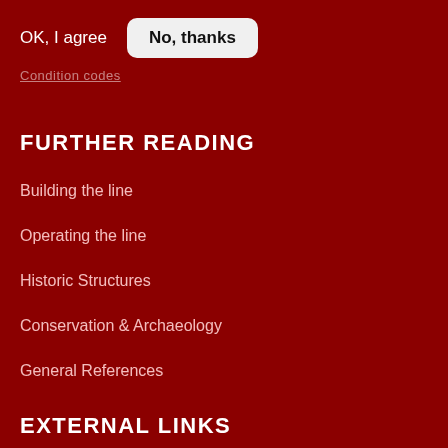OK, I agree
No, thanks
Condition codes
FURTHER READING
Building the line
Operating the line
Historic Structures
Conservation & Archaeology
General References
EXTERNAL LINKS
Find us on